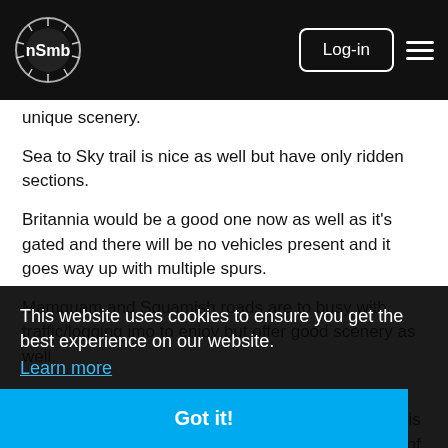nsmb.com logo | Log-in | Menu
unique scenery.
Sea to Sky trail is nice as well but have only ridden sections.
Britannia would be a good one now as well as it's gated and there will be no vehicles present and it goes way up with multiple spurs.
Mamquam and Squamish roads are to busy with traffic/logging imo to enjoy but offer good scenery as well.
...h where ...vel road ride. The gravel road on the watershed size is smooth and in ...on. I know there is some kind of security patrol because I ran into one of them at the fence who was smoking again.
One kind of bonus with the FSR roads around here is for the most part you start your day riding up and spend the end riding back down.
This website uses cookies to ensure you get the best experience on our website.
Learn more
Got it!